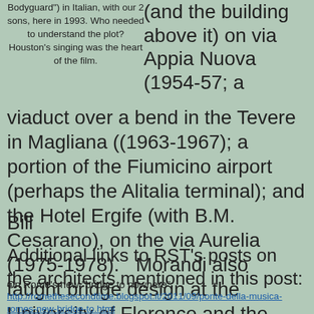Bodyguard") in Italian, with our 2 sons, here in 1993.  Who needed to understand the plot?  Houston's singing was the heart of the film.
(and the building above it) on via Appia Nuova (1954-57; a viaduct over a bend in the Tevere in Magliana ((1963-1967); a portion of the Fiumicino airport (perhaps the Alitalia terminal); and the Hotel Ergife (with B.M. Cesarano), on the via Aurelia (1975-1978).   Morandi also taught bridge design at the University of Florence and the University of Rome.
Bill
Additional links to RST's posts on the architects mentioned in this post:
On Rome's new "bridge to nowhere":
http://romethesecondtime.blogspot.it/2011/09/ponte-della-musica-romes-new-bridge-to.html
On Hadid winning the Sterling Prize: